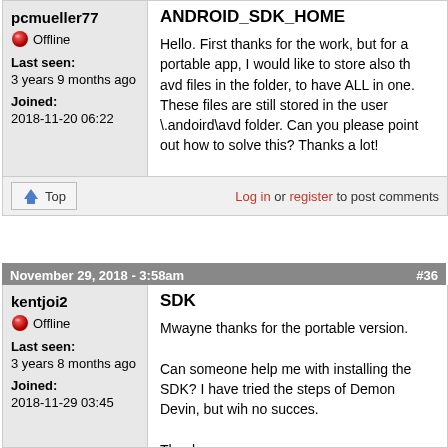ANDROID_SDK_HOME
Hello. First thanks for the work, but for a portable app, I would like to store also th avd files in the folder, to have ALL in one. These files are still stored in the user \.andoird\avd folder. Can you please point out how to solve this? Thanks a lot!
pcmueller77
Offline
Last seen: 3 years 9 months ago
Joined: 2018-11-20 06:22
Log in or register to post comments
November 29, 2018 - 3:58am  #36
SDK
Mwayne thanks for the portable version.

Can someone help me with installing the SDK? I have tried the steps of Demon Devin, but wih no succes.

Thanks,
kentjoi2
Offline
Last seen: 3 years 8 months ago
Joined: 2018-11-29 03:45